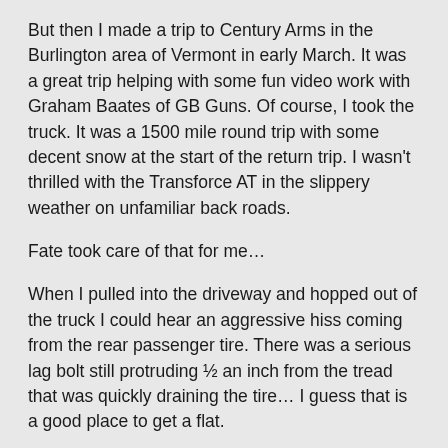But then I made a trip to Century Arms in the Burlington area of Vermont in early March. It was a great trip helping with some fun video work with Graham Baates of GB Guns. Of course, I took the truck. It was a 1500 mile round trip with some decent snow at the start of the return trip. I wasn't thrilled with the Transforce AT in the slippery weather on unfamiliar back roads.
Fate took care of that for me…
When I pulled into the driveway and hopped out of the truck I could hear an aggressive hiss coming from the rear passenger tire. There was a serious lag bolt still protruding ½ an inch from the tread that was quickly draining the tire… I guess that is a good place to get a flat.
The spare was brand new but it was a highway tire so the result was new shoes all around.
What tires and why?